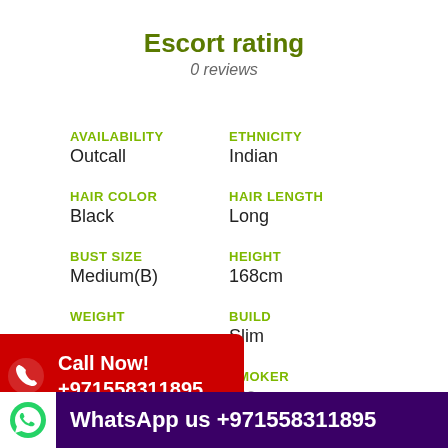Escort rating
0 reviews
AVAILABILITY
Outcall
ETHNICITY
Indian
HAIR COLOR
Black
HAIR LENGTH
Long
BUST SIZE
Medium(B)
HEIGHT
168cm
WEIGHT
BUILD
Slim
[Figure (infographic): Red Call Now banner with phone icon and number +971558311895]
LOOKS
Ultra Sexy
SMOKER
Yes
EDUCATION
SPORTS
[Figure (infographic): Dark purple WhatsApp banner: WhatsApp us +971558311895]